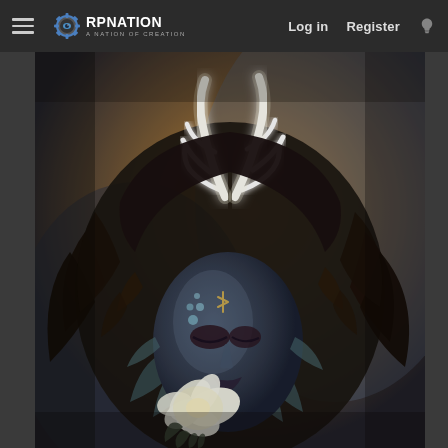RPNation - A Nation of Creation | Log in | Register
[Figure (illustration): Fantasy digital art illustration of a female figure with glowing white antlers on her head, dark feathered cloak/collar, blue face paint with dots and a rune symbol, closed eyes, holding a large white flower. Dark, atmospheric background with warm amber/gold tones behind the figure.]